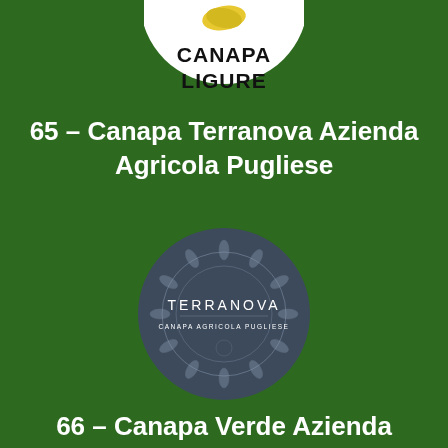[Figure (logo): Canapa Ligure logo — white circle with bold black text 'CANAPA LIGURE' and a yellow leaf/hemp graphic at top]
65 – Canapa Terranova Azienda Agricola Pugliese
[Figure (logo): Terranova Canapa Agricola Pugliese logo — dark slate-grey circle with ornate sunflower/hemp mandala border and white text 'TERRANOVA' and 'CANAPA AGRICOLA PUGLIESE']
66 – Canapa Verde Azienda